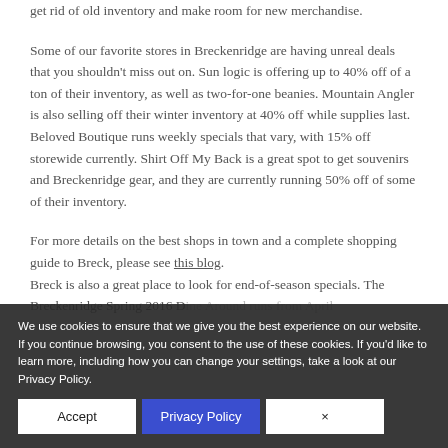get rid of old inventory and make room for new merchandise.
Some of our favorite stores in Breckenridge are having unreal deals that you shouldn't miss out on. Sun logic is offering up to 40% off of a ton of their inventory, as well as two-for-one beanies. Mountain Angler is also selling off their winter inventory at 40% off while supplies last. Beloved Boutique runs weekly specials that vary, with 15% off storewide currently. Shirt Off My Back is a great spot to get souvenirs and Breckenridge gear, and they are currently running 50% off of some of their inventory.
For more details on the best shops in town and a complete shopping guide to Breck, please see this blog.
Breck is also a great place to look for end-of-season specials. The Breckenridge Spring 2016 Dine Around runs from April ... June 9. It starts at $10 and you ...
We use cookies to ensure that we give you the best experience on our website. If you continue browsing, you consent to the use of these cookies. If you'd like to learn more, including how you can change your settings, take a look at our Privacy Policy.